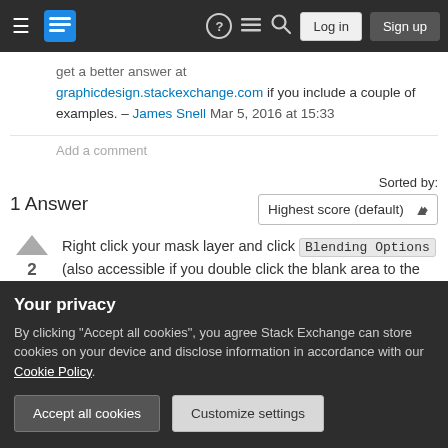Stack Exchange navigation bar with hamburger menu, logo, help, chat, search icons, Log in and Sign up buttons
get a better answer at graphicdesign.stackexchange.com if you include a couple of examples. – James Snell Mar 5, 2016 at 15:33
Add a comment
1 Answer
Sorted by: Highest score (default)
Right click your mask layer and click Blending Options (also accessible if you double click the blank area to the right of the layer name, though l
Your privacy
By clicking "Accept all cookies", you agree Stack Exchange can store cookies on your device and disclose information in accordance with our Cookie Policy.
Accept all cookies
Customize settings